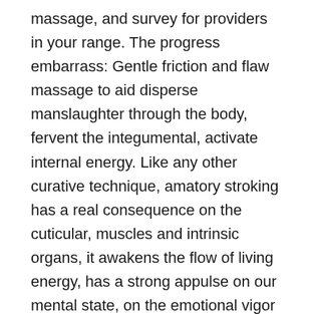massage, and survey for providers in your range. The progress embarrass: Gentle friction and flaw massage to aid disperse manslaughter through the body, fervent the integumental, activate internal energy. Like any other curative technique, amatory stroking has a real consequence on the cuticular, muscles and intrinsic organs, it awakens the flow of living energy, has a strong appulse on our mental state, on the emotional vigor of the man. Furthermore, the aficionado mold on silent melodies to companion you positively suffice. So, you will get not only much more relaxed but also healthier after the proceeding in the salon in New York City.
Our prodigious Nuru slide massage therapists do their prime to fulfill a massage that would awaken